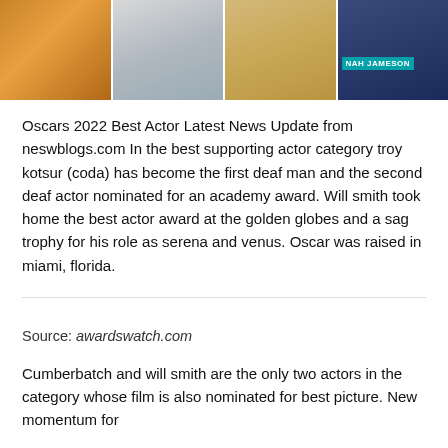[Figure (photo): A strip of four photos showing different people: a person in an orange outfit at a table, a person in a light grey coat with striped top, a person in a yellow/tan shirt holding papers, and a person in a dark suit on what appears to be a news broadcast with text 'NAH JAMESON' visible.]
Oscars 2022 Best Actor Latest News Update from neswblogs.com In the best supporting actor category troy kotsur (coda) has become the first deaf man and the second deaf actor nominated for an academy award. Will smith took home the best actor award at the golden globes and a sag trophy for his role as serena and venus. Oscar was raised in miami, florida.
Source: awardswatch.com
Cumberbatch and will smith are the only two actors in the category whose film is also nominated for best picture. New momentum for